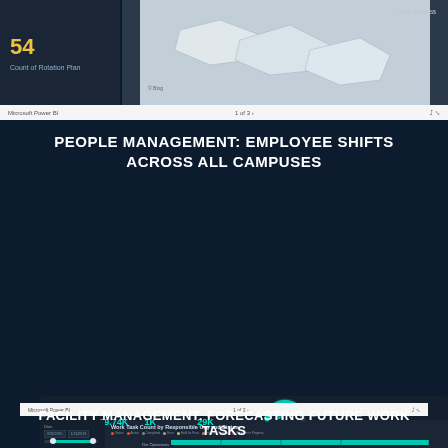[Figure (screenshot): Microsoft Power BI dashboard screenshot showing KPI panel with '54 Count of Rotation Plan' and a Map of Area with navigation bar showing '1 of 3']
PEOPLE MANAGEMENT: EMPLOYEE SHIFTS ACROSS ALL CAMPUSES
[Figure (screenshot): Microsoft Power BI dashboard screenshot with tjene logo showing Work Task metrics: All Work Tasks 29.74K, Active Work Tasks 1K, Completed Work Tasks 29K, Work Task Completion Rate gauge at 29K, horizontal bar chart 'Work Task Count by Responsible Org and Status' with filters on left side, Power BI navigation bar showing '1 of 2']
FACILITY MANAGEMENT: FORECASTING FUTURE WORK TASKS